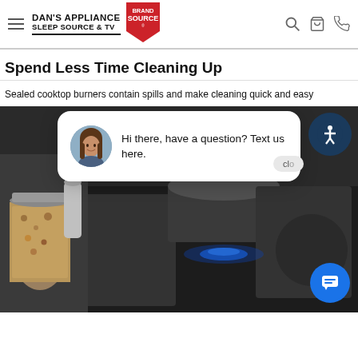DAN'S APPLIANCE SLEEP SOURCE & TV | Brand Source
Spend Less Time Cleaning Up
Sealed cooktop burners contain spills and make cleaning quick and easy
[Figure (photo): Photo of a gas cooktop with a saucepan, glass jar with grains/beans, and blue gas flame visible. Overlaid with a chat popup widget reading 'Hi there, have a question? Text us here.' with a female avatar, an accessibility button, and a blue chat FAB button.]